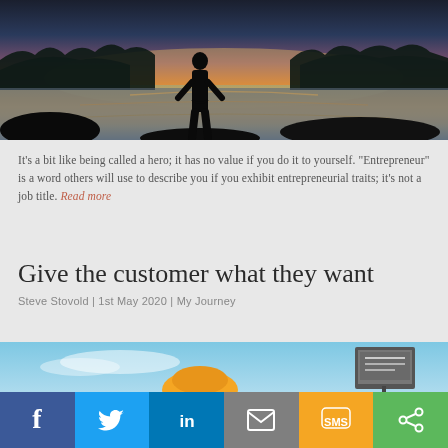[Figure (photo): Silhouette of a person standing by a lake at sunset with trees and mountains in background, warm orange and golden sky]
It's a bit like being called a hero; it has no value if you do it to yourself. "Entrepreneur" is a word others will use to describe you if you exhibit entrepreneurial traits; it's not a job title. Read more
Give the customer what they want
Steve Stovold | 1st May 2020 | My Journey
[Figure (photo): Partial view of an outdoor scene with blue sky, an orange object or balloon in center and a billboard on the right]
[Figure (infographic): Social sharing bar with Facebook, Twitter, LinkedIn, Email, SMS, and Share icons]